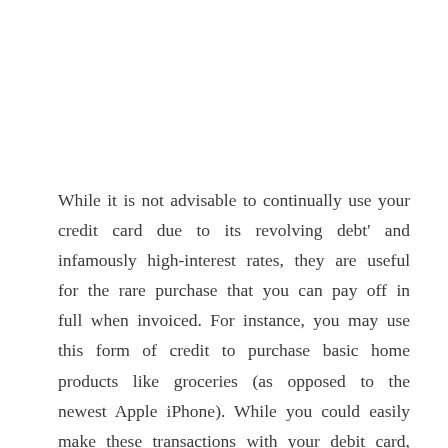While it is not advisable to continually use your credit card due to its revolving debt' and infamously high-interest rates, they are useful for the rare purchase that you can pay off in full when invoiced. For instance, you may use this form of credit to purchase basic home products like groceries (as opposed to the newest Apple iPhone). While you could easily make these transactions with your debit card, several credit cards provide perks ranging from cashback to frequent flyer